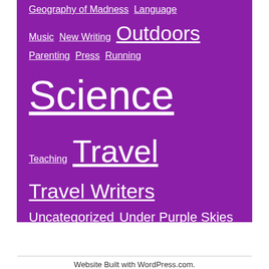Geography of Madness  Language  Music  New Writing  Outdoors  Parenting  Press  Running  Science  Teaching  Travel  Travel Writers  Uncategorized  Under Purple Skies  Video  Words to live by  World Cup 2010  World Hum  Writers  Writing
Website Built with WordPress.com.